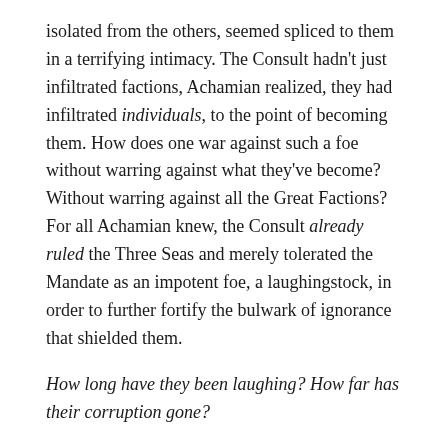isolated from the others, seemed spliced to them in a terrifying intimacy. The Consult hadn't just infiltrated factions, Achamian realized, they had infiltrated individuals, to the point of becoming them. How does one war against such a foe without warring against what they've become? Without warring against all the Great Factions? For all Achamian knew, the Consult already ruled the Three Seas and merely tolerated the Mandate as an impotent foe, a laughingstock, in order to further fortify the bulwark of ignorance that shielded them.
How long have they been laughing? How far has their corruption gone?
He wonders if the Holy War is the Consult and then realizes that Geshruuni, his spy in the Scarlet Spire, was killed and meant to be replaced by a skin-spy. The Consult would know about the secret war between the Scarlet Spire and the Cishaurim, which means